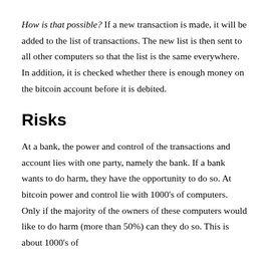How is that possible? If a new transaction is made, it will be added to the list of transactions. The new list is then sent to all other computers so that the list is the same everywhere. In addition, it is checked whether there is enough money on the bitcoin account before it is debited.
Risks
At a bank, the power and control of the transactions and account lies with one party, namely the bank. If a bank wants to do harm, they have the opportunity to do so. At bitcoin power and control lie with 1000's of computers. Only if the majority of the owners of these computers would like to do harm (more than 50%) can they do so. This is about 1000's of